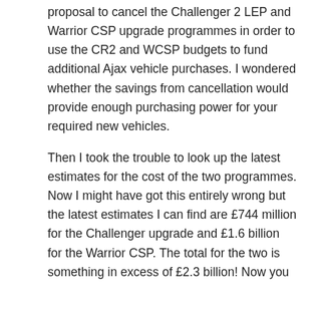proposal to cancel the Challenger 2 LEP and Warrior CSP upgrade programmes in order to use the CR2 and WCSP budgets to fund additional Ajax vehicle purchases. I wondered whether the savings from cancellation would provide enough purchasing power for your required new vehicles.
Then I took the trouble to look up the latest estimates for the cost of the two programmes. Now I might have got this entirely wrong but the latest estimates I can find are £744 million for the Challenger upgrade and £1.6 billion for the Warrior CSP. The total for the two is something in excess of £2.3 billion! Now you